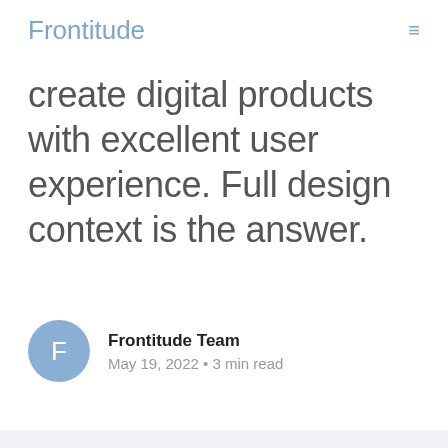Frontitude ≡
create digital products with excellent user experience. Full design context is the answer.
Frontitude Team
May 19, 2022 • 3 min read